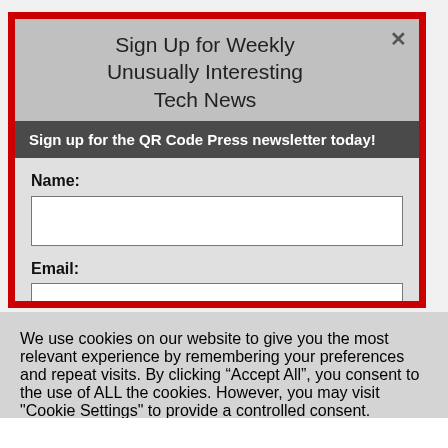Sign Up for Weekly Unusually Interesting Tech News
Sign up for the QR Code Press newsletter today!
Name:
Email:
We use cookies on our website to give you the most relevant experience by remembering your preferences and repeat visits. By clicking “Accept All”, you consent to the use of ALL the cookies. However, you may visit "Cookie Settings" to provide a controlled consent.